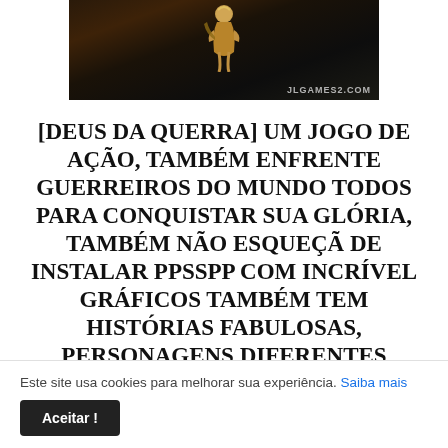[Figure (screenshot): Screenshot from a video game (God of War style action game) showing a warrior character in a dark environment, with watermark 'JLGAMES2.COM' in bottom right]
[DEUS DA QUERRA] UM JOGO DE AÇÃO, TAMBÉM ENFRENTE GUERREIROS DO MUNDO TODOS PARA CONQUISTAR SUA GLÓRIA, TAMBÉM NÃO ESQUEÇÃ DE INSTALAR PPSSPP COM INCRÍVEL GRÁFICOS TAMBÉM TEM HISTÓRIAS FABULOSAS, PERSONAGENS DIFERENTES CONTROLES SÃO
Este site usa cookies para melhorar sua experiência. Saiba mais
Aceitar !